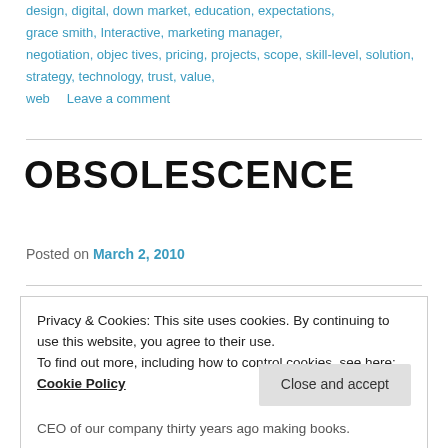design, digital, down market, education, expectations, grace smith, Interactive, marketing manager, negotiation, objec tives, pricing, projects, scope, skill-level, solution, strategy, technology, trust, value, web   Leave a comment
OBSOLESCENCE
Posted on March 2, 2010
Privacy & Cookies: This site uses cookies. By continuing to use this website, you agree to their use.
To find out more, including how to control cookies, see here:
Cookie Policy
CEO of our company thirty years ago making books.